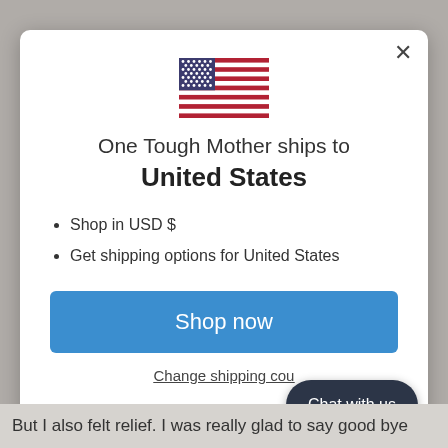[Figure (screenshot): US flag emoji/icon centered in the modal]
One Tough Mother ships to United States
Shop in USD $
Get shipping options for United States
Shop now
Change shipping cou...
Chat with us
But I also felt relief. I was really glad to say good bye